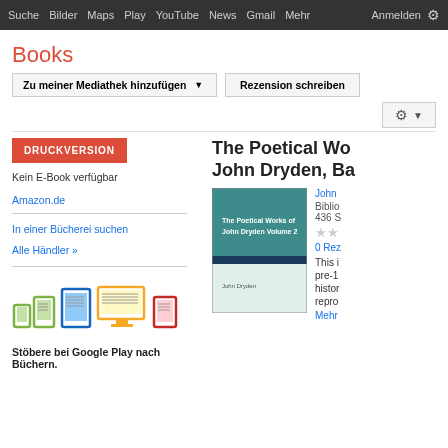Suche Bilder Maps Play YouTube News Gmail Mehr Anmelden
Books
Zu meiner Mediathek hinzufügen ▼   Rezension schreiben
DRUCKVERSION
Kein E-Book verfügbar
Amazon.de
In einer Bücherei suchen
Alle Händler »
[Figure (illustration): Google Play device icons: phone, tablet, e-reader, monitor, and e-reader in green, blue, yellow/orange, and red colors]
Stöbere bei Google Play nach Büchern.
The Poetical Wo John Dryden, Ba
[Figure (illustration): Book cover of The Poetical Works of John Dryden Volume 2, teal/dark background with title text]
John
Biblio 436 S
0 Rez
This i pre-1 histor repro
Mehr